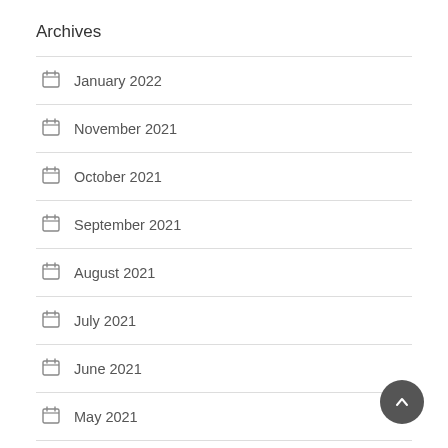Archives
January 2022
November 2021
October 2021
September 2021
August 2021
July 2021
June 2021
May 2021
April 2021